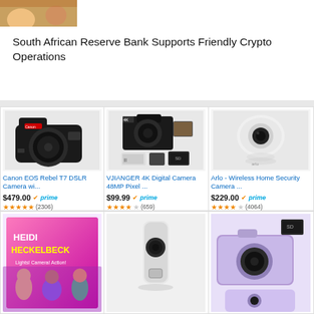[Figure (photo): Partial thumbnail image of people/food at top left]
South African Reserve Bank Supports Friendly Crypto Operations
[Figure (photo): Canon EOS Rebel T7 DSLR camera product image]
Canon EOS Rebel T7 DSLR Camera wi...
$479.00 prime (2306)
[Figure (photo): VJIANGER 4K Digital Camera product image with accessories]
VJIANGER 4K Digital Camera 48MP Pixel ...
$99.99 prime (659)
[Figure (photo): Arlo wireless home security camera product image]
Arlo - Wireless Home Security Camera ...
$229.00 prime (4064)
[Figure (photo): Heidi Heckelbeck book cover]
[Figure (photo): Ring doorbell camera product image]
[Figure (photo): Purple digital camera with SD card]